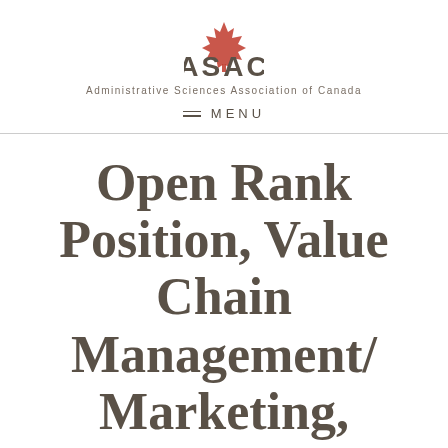[Figure (logo): ASAC maple leaf logo with text 'ASAC' and subtitle 'Administrative Sciences Association of Canada']
MENU
Open Rank Position, Value Chain Management/ Marketing, Faculty of Agriculture –